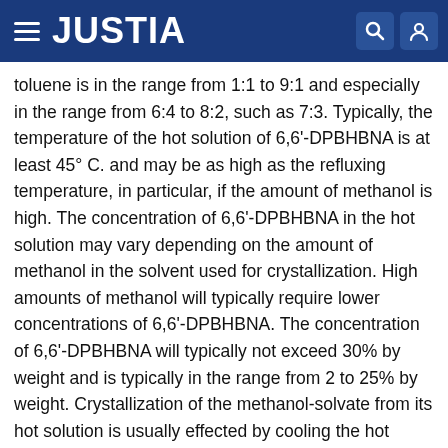JUSTIA
toluene is in the range from 1:1 to 9:1 and especially in the range from 6:4 to 8:2, such as 7:3. Typically, the temperature of the hot solution of 6,6'-DPBHBNA is at least 45° C. and may be as high as the refluxing temperature, in particular, if the amount of methanol is high. The concentration of 6,6'-DPBHBNA in the hot solution may vary depending on the amount of methanol in the solvent used for crystallization. High amounts of methanol will typically require lower concentrations of 6,6'-DPBHBNA. The concentration of 6,6'-DPBHBNA will typically not exceed 30% by weight and is typically in the range from 2 to 25% by weight. Crystallization of the methanol-solvate from its hot solution is usually effected by cooling the hot solution to a temperature below 40° C., e.g. to a temperature in the range from −10 to <40° C. or from −5 to 30° C. Seed crystals may be added at a temperature of below 40° C.